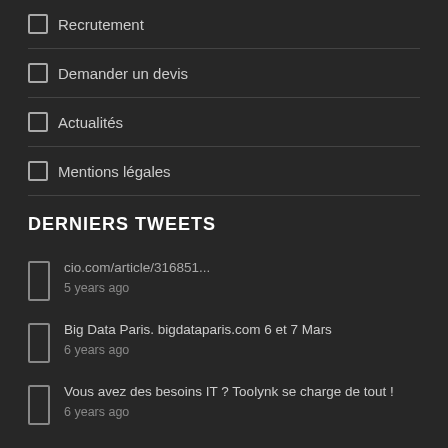Recrutement
Demander un devis
Actualités
Mentions légales
DERNIERS TWEETS
cio.com/article/316851...
5 years ago
Big Data Paris. bigdataparis.com 6 et 7 Mars
6 years ago
Vous avez des besoins IT ? Toolynk se charge de tout !
6 years ago